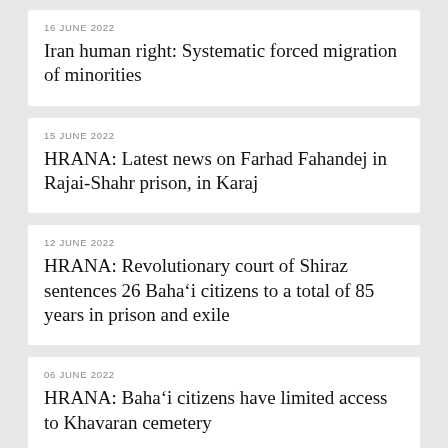16 JUNE 2022
Iran human right: Systematic forced migration of minorities
15 JUNE 2022
HRANA: Latest news on Farhad Fahandej in Rajai-Shahr prison, in Karaj
12 JUNE 2022
HRANA: Revolutionary court of Shiraz sentences 26 Baha'i citizens to a total of 85 years in prison and exile
06 JUNE 2022
HRANA: Baha'i citizens have limited access to Khavaran cemetery